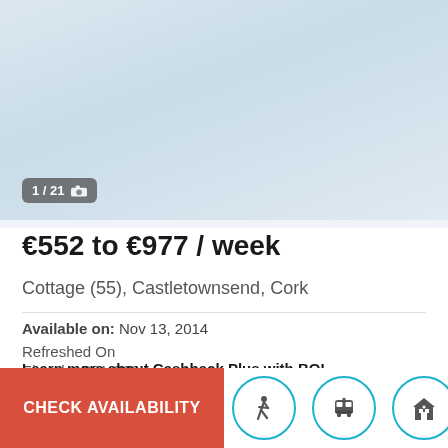[Figure (photo): Property photo area with light blue/grey gradient background]
1 / 21 [camera icon]
€552 to €977 / week
Cottage (55), Castletownsend, Cork
Available on: Nov 13, 2014
Refreshed On
Eircode: P81 C99
Learn more about Cashback Plus with BOI
CHECK AVAILABILITY